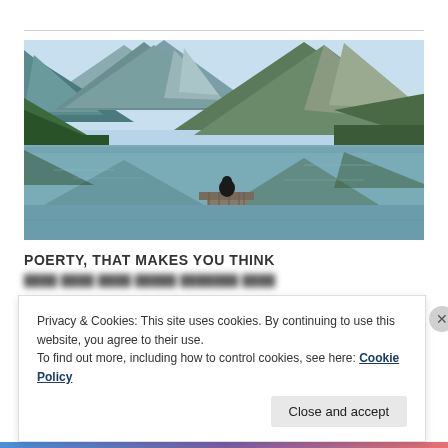[Figure (photo): Person sitting on a dock over a calm mountain lake, surrounded by large rocky mountains and forested slopes reflecting in the still water.]
POERTY, THAT MAKES YOU THINK
[blurred/redacted text line]
Privacy & Cookies: This site uses cookies. By continuing to use this website, you agree to their use.
To find out more, including how to control cookies, see here: Cookie Policy
Close and accept